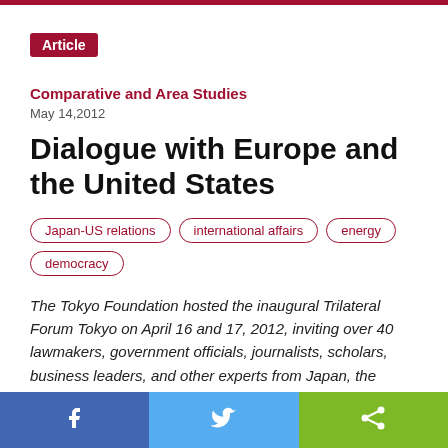Article
Comparative and Area Studies
May 14,2012
Dialogue with Europe and the United States
Japan-US relations
international affairs
energy
democracy
The Tokyo Foundation hosted the inaugural Trilateral Forum Tokyo on April 16 and 17, 2012, inviting over 40 lawmakers, government officials, journalists, scholars, business leaders, and other experts from Japan, the United States, and Europe for two days of intensive dialogue on the "New Global Architecture and
f  [twitter bird]  [share icon]